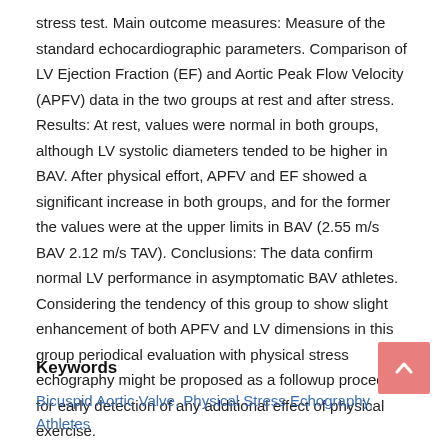stress test. Main outcome measures: Measure of the standard echocardiographic parameters. Comparison of LV Ejection Fraction (EF) and Aortic Peak Flow Velocity (APFV) data in the two groups at rest and after stress. Results: At rest, values were normal in both groups, although LV systolic diameters tended to be higher in BAV. After physical effort, APFV and EF showed a significant increase in both groups, and for the former the values were at the upper limits in BAV (2.55 m/s BAV 2.12 m/s TAV). Conclusions: The data confirm normal LV performance in asymptomatic BAV athletes. Considering the tendency of this group to show slight enhancement of both APFV and LV dimensions in this group periodical evaluation with physical stress echography might be proposed as a followup procedure for early detection of any additional effect of physical exercise.
Keywords
Bicuspid Aortic Valve, Physical Stress Echography, Athletes